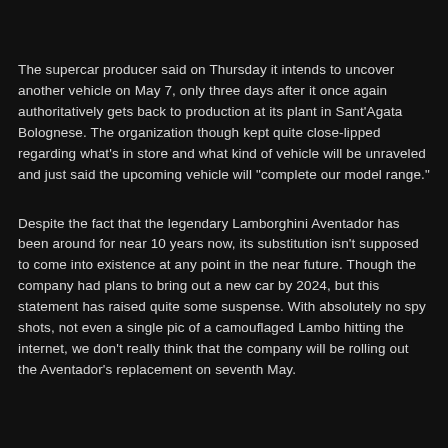The supercar producer said on Thursday it intends to uncover another vehicle on May 7, only three days after it once again authoritatively gets back to production at its plant in Sant'Agata Bolognese. The organization though kept quite close-lipped regarding what's in store and what kind of vehicle will be unraveled and just said the upcoming vehicle will "complete our model range."
Despite the fact that the legendary Lamborghini Aventador has been around for near 10 years now, its substitution isn't supposed to come into existence at any point in the near future. Though the company had plans to bring out a new car by 2024, but this statement has raised quite some suspense. With absolutely no spy shots, not even a single pic of a camouflaged Lambo hitting the internet, we don't really think that the company will be rolling out the Aventador's replacement on seventh May.